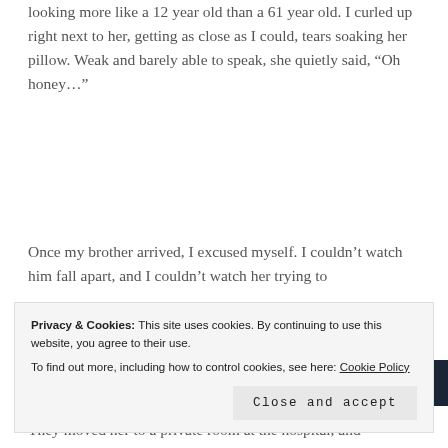looking more like a 12 year old than a 61 year old. I curled up right next to her, getting as close as I could, tears soaking her pillow. Weak and barely able to speak, she quietly said, “Oh honey…”
[Figure (screenshot): Advertisements banner with dark navy background showing 'Opinions' text in white bold font with two circular icons on the right]
Once my brother arrived, I excused myself. I couldn’t watch him fall apart, and I couldn’t watch her trying to
Privacy & Cookies: This site uses cookies. By continuing to use this website, you agree to their use.
To find out more, including how to control cookies, see here: Cookie Policy
They moved her to a private room at the hospital, and